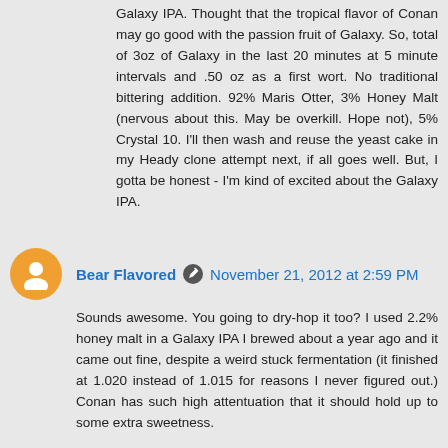Galaxy IPA. Thought that the tropical flavor of Conan may go good with the passion fruit of Galaxy. So, total of 3oz of Galaxy in the last 20 minutes at 5 minute intervals and .50 oz as a first wort. No traditional bittering addition. 92% Maris Otter, 3% Honey Malt (nervous about this. May be overkill. Hope not), 5% Crystal 10. I'll then wash and reuse the yeast cake in my Heady clone attempt next, if all goes well. But, I gotta be honest - I'm kind of excited about the Galaxy IPA.
Bear Flavored  November 21, 2012 at 2:59 PM
Sounds awesome. You going to dry-hop it too? I used 2.2% honey malt in a Galaxy IPA I brewed about a year ago and it came out fine, despite a weird stuck fermentation (it finished at 1.020 instead of 1.015 for reasons I never figured out.) Conan has such high attentuation that it should hold up to some extra sweetness.